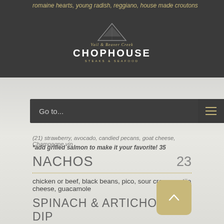romaine hearts, young radish, reggiano, house made croutons
[Figure (logo): Vail & Beaver Creek Chophouse Steaks & Seafood logo with mountain graphic]
(21) strawberry, avocado, candied pecans, goat cheese, Champagne vin
*add grilled salmon to make it your favorite! 35
Go to...
NACHOS
23
chicken or beef, black beans, pico, sour cream, cotija cheese, guacamole
SPINACH & ARTICHOKE DIP
18
special blend of cheeses, flatbreads, crudites